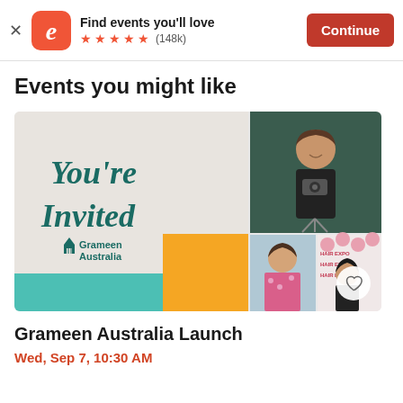Find events you'll love ★★★★★ (148k) Continue
Events you might like
[Figure (photo): Eventbrite event card image showing 'You're Invited' Grameen Australia text on left panel, and a collage of photos on the right: a woman holding a camera, two women smiling, and a person at a Hair Expo backdrop.]
Grameen Australia Launch
Wed, Sep 7, 10:30 AM